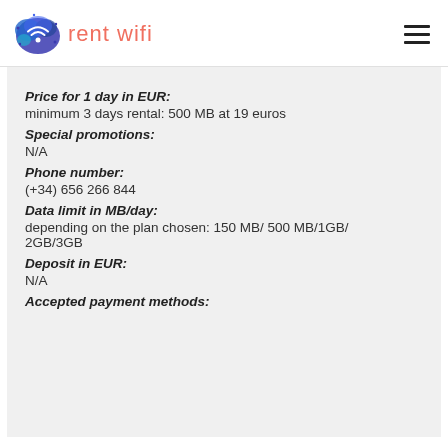rent wifi
Price for 1 day in EUR:
minimum 3 days rental: 500 MB at 19 euros
Special promotions:
N/A
Phone number:
(+34) 656 266 844
Data limit in MB/day:
depending on the plan chosen: 150 MB/ 500 MB/1GB/ 2GB/3GB
Deposit in EUR:
N/A
Accepted payment methods: